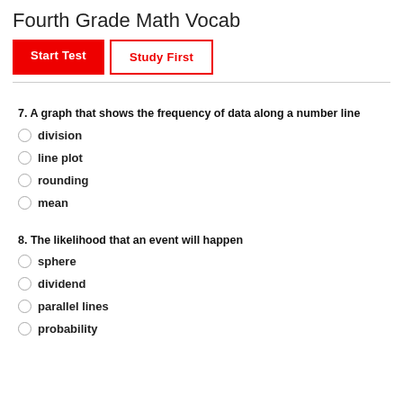Fourth Grade Math Vocab
Start Test | Study First
7. A graph that shows the frequency of data along a number line
division
line plot
rounding
mean
8. The likelihood that an event will happen
sphere
dividend
parallel lines
probability